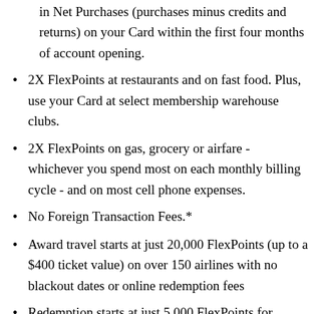FlexPoints Travel Rewards Card after you spend $3,500 in Net Purchases (purchases minus credits and returns) on your Card within the first four months of account opening.
2X FlexPoints at restaurants and on fast food. Plus, use your Card at select membership warehouse clubs.
2X FlexPoints on gas, grocery or airfare - whichever you spend most on each monthly billing cycle - and on most cell phone expenses.
No Foreign Transaction Fees.*
Award travel starts at just 20,000 FlexPoints (up to a $400 ticket value) on over 150 airlines with no blackout dates or online redemption fees
Redemption starts at just 5,000 FlexPoints for merchandise, gift cards, statement credits and more.